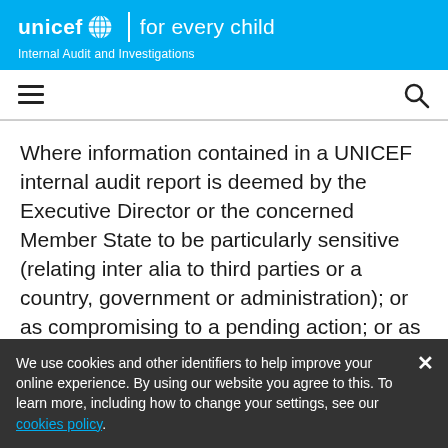unicef for every child | Internal Audit and Investigations
Where information contained in a UNICEF internal audit report is deemed by the Executive Director or the concerned Member State to be particularly sensitive (relating inter alia to third parties or a country, government or administration); or as compromising to a pending action; or as being likely to endanger the safety or security of any individual, violate his or her rights or invade his or her privacy,
We use cookies and other identifiers to help improve your online experience. By using our website you agree to this. To learn more, including how to change your settings, see our cookies policy.